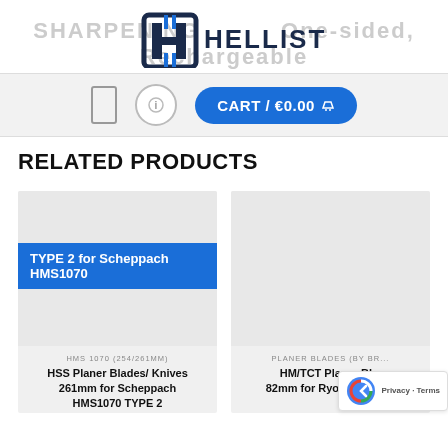SHARPENING One-sided, Rechargeable — Helliston logo
[Figure (logo): Helliston brand logo with stylized H emblem and HELLISTON wordmark]
[Figure (screenshot): Navigation bar with rectangle icon, circle icon with i, and CART / €0.00 blue button]
RELATED PRODUCTS
[Figure (screenshot): Product card for HSS Planer Blades/Knives 261mm for Scheppach HMS1070 TYPE 2, blue badge label visible]
HMS 1070 (254/261MM)
HSS Planer Blades/ Knives 261mm for Scheppach HMS1070 TYPE 2
[Figure (screenshot): Product card for HM/TCT Planer Blades 82mm for Ryobi R18PL, partially visible]
PLANER BLADES (BY BR...
HM/TCT Planer Bl... 82mm for Ryobi R18PL...